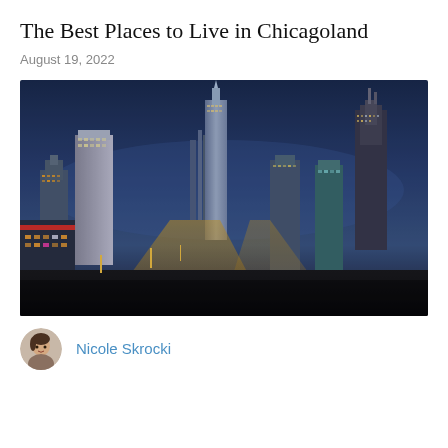The Best Places to Live in Chicagoland
August 19, 2022
[Figure (photo): Aerial nighttime panoramic view of Chicago skyline with illuminated skyscrapers and city streets, blue dusk sky in background]
Nicole Skrocki